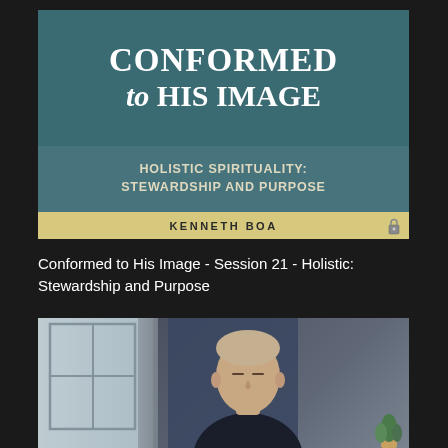[Figure (screenshot): Book cover for 'Conformed to His Image' by Kenneth Boa. Teal/dark green background. Top section shows title 'CONFORMED to HIS IMAGE' in large serif white text. Middle section shows subtitle 'HOLISTIC SPIRITUALITY: STEWARDSHIP AND PURPOSE' in bold white/cream text. Bottom section is a cream/tan banner with 'KENNETH BOA' in bold spaced letters.]
Conformed to His Image - Session 21 - Holistic: Stewardship and Purpose
[Figure (screenshot): Video thumbnail showing a man with short gray-blonde hair wearing a dark suit jacket, eyes closed or looking down, seated in a room with a window on the left showing window panes, curtain/drape in center-left, dark blue panel in background, and a small plant visible on the right side.]